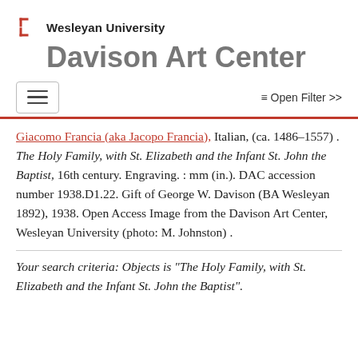[Figure (logo): Wesleyan University Davison Art Center logo with bracket symbol in red]
Wesleyan University
Davison Art Center
[Figure (other): Hamburger menu button (navigation toggle) with three horizontal lines]
≡ Open Filter >>
Giacomo Francia (aka Jacopo Francia), Italian, (ca. 1486–1557) . The Holy Family, with St. Elizabeth and the Infant St. John the Baptist, 16th century. Engraving. : mm (in.). DAC accession number 1938.D1.22. Gift of George W. Davison (BA Wesleyan 1892), 1938. Open Access Image from the Davison Art Center, Wesleyan University (photo: M. Johnston) .
Your search criteria: Objects is "The Holy Family, with St. Elizabeth and the Infant St. John the Baptist"